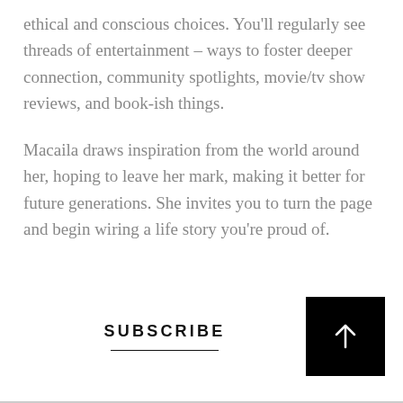ethical and conscious choices. You'll regularly see threads of entertainment – ways to foster deeper connection, community spotlights, movie/tv show reviews, and book-ish things.
Macaila draws inspiration from the world around her, hoping to leave her mark, making it better for future generations. She invites you to turn the page and begin wiring a life story you're proud of.
SUBSCRIBE